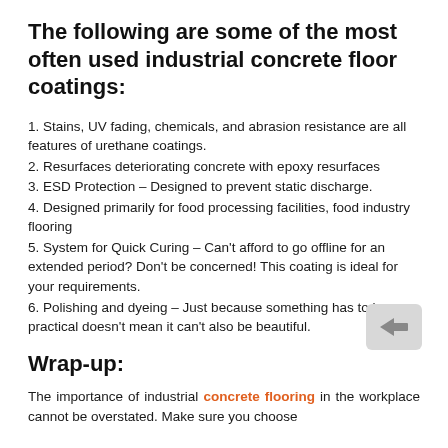The following are some of the most often used industrial concrete floor coatings:
1. Stains, UV fading, chemicals, and abrasion resistance are all features of urethane coatings.
2. Resurfaces deteriorating concrete with epoxy resurfaces
3. ESD Protection – Designed to prevent static discharge.
4. Designed primarily for food processing facilities, food industry flooring
5. System for Quick Curing – Can't afford to go offline for an extended period? Don't be concerned! This coating is ideal for your requirements.
6. Polishing and dyeing – Just because something has to be practical doesn't mean it can't also be beautiful.
Wrap-up:
The importance of industrial concrete flooring in the workplace cannot be overstated. Make sure you choose